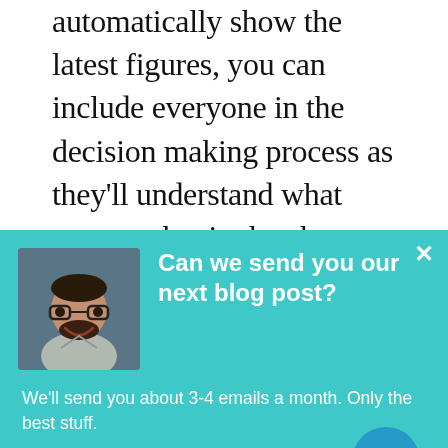automatically show the latest figures, you can include everyone in the decision making process as they'll understand what means what in the charts and tables. The data may be complex, but it becomes easy to read when combined with proper
[Figure (infographic): Teal popup overlay with avatar photo of a smiling man with glasses, bold white headline 'Can we send you our next blog post?', body text 'We'll send you about 3-4 emails a month. Only the best stuff.', a white subscribe button reading 'Subscribe to the blog', a close X button, and a circular chat icon in the bottom right corner.]